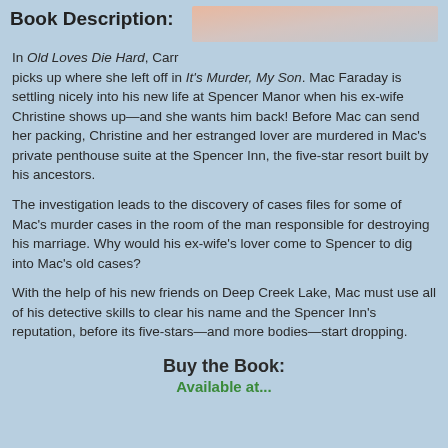Book Description:
[Figure (photo): Top right corner decorative image with pink/peach and grey tones]
In Old Loves Die Hard, Carr picks up where she left off in It's Murder, My Son. Mac Faraday is settling nicely into his new life at Spencer Manor when his ex-wife Christine shows up—and she wants him back! Before Mac can send her packing, Christine and her estranged lover are murdered in Mac's private penthouse suite at the Spencer Inn, the five-star resort built by his ancestors.
The investigation leads to the discovery of cases files for some of Mac's murder cases in the room of the man responsible for destroying his marriage. Why would his ex-wife's lover come to Spencer to dig into Mac's old cases?
With the help of his new friends on Deep Creek Lake, Mac must use all of his detective skills to clear his name and the Spencer Inn's reputation, before its five-stars—and more bodies—start dropping.
Buy the Book:
Available at...